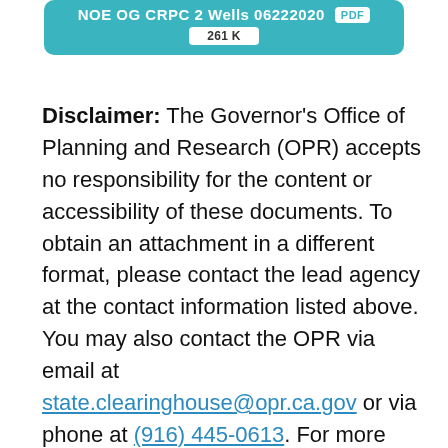[Figure (other): Teal header bar showing document link: NOE OG CRPC 2 Wells 06222020 PDF badge, 261K file size badge]
Disclaimer: The Governor's Office of Planning and Research (OPR) accepts no responsibility for the content or accessibility of these documents. To obtain an attachment in a different format, please contact the lead agency at the contact information listed above. You may also contact the OPR via email at state.clearinghouse@opr.ca.gov or via phone at (916) 445-0613. For more information, please visit